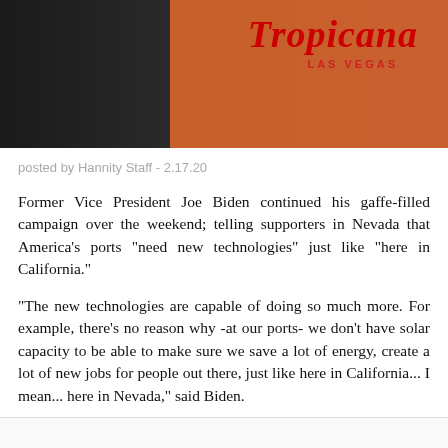[Figure (photo): Photo showing a dark background on the left and an orange/wood-toned background on the right with the Tropicana Las Vegas logo/sign visible in red script text with 'LAS VEGAS' underneath in small red letters.]
posted by Hannity Staff - 2.17.20
Former Vice President Joe Biden continued his gaffe-filled campaign over the weekend; telling supporters in Nevada that America's ports "need new technologies" just like "here in California."
“The new technologies are capable of doing so much more. For example, there’s no reason why -at our ports- we don’t have solar capacity to be able to make sure we save a lot of energy, create a lot of new jobs for people out there, just like here in California... I mean... here in Nevada,” said Biden.